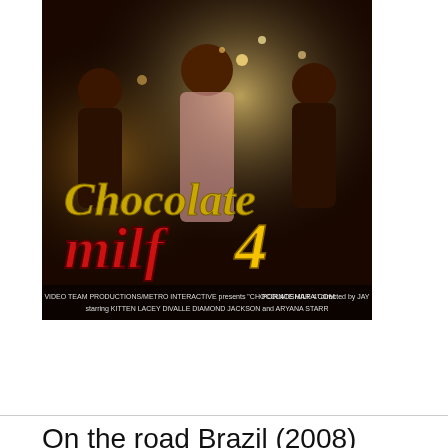[Figure (photo): DVD cover art for 'Chocolate Milf 4' by Video Team Productions/Metro Interactive. Shows stylized title text with gold 'Chocolate' and red/yellow 'milf4' lettering. Credits at bottom: starring Kitten, Lacey DiValle, Diamond Jackson and Aryana Starr. Watermark: PORNOSHARA.COM]
Download
On the road Brazil (2008) DVDRip